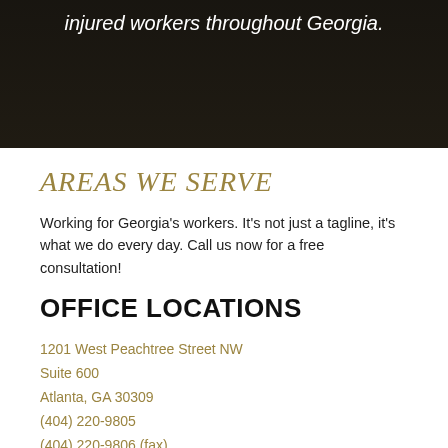[Figure (photo): Dark background hero image with text overlay reading 'injured workers throughout Georgia.']
AREAS WE SERVE
Working for Georgia's workers. It's not just a tagline, it's what we do every day. Call us now for a free consultation!
OFFICE LOCATIONS
1201 West Peachtree Street NW
Suite 600
Atlanta, GA 30309
(404) 220-9805
(404) 220-9806 (fax)
380 Meigs Street
Athens, GA 30601